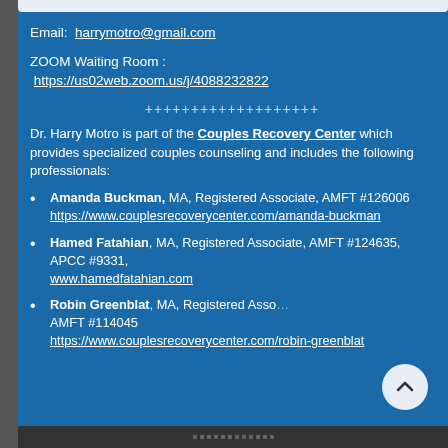Email: harrymotro@gmail.com
ZOOM Waiting Room : https://us02web.zoom.us/j/4088232822
+++++++++++++++++++
Dr. Harry Motro is part of the Couples Recovery Center which provides specialized couples counseling and includes the following professionals:
Amanda Buckman, MA, Registered Associate, AMFT #126006 https://www.couplesrecoverycenter.com/amanda-buckman
Hamed Fatahian, MA, Registered Associate, AMFT #124635, APCC #9331, www.hamedfatahian.com
Robin Greenblat, MA, Registered Associate, AMFT #114045 https://www.couplesrecoverycenter.com/robin-greenblat